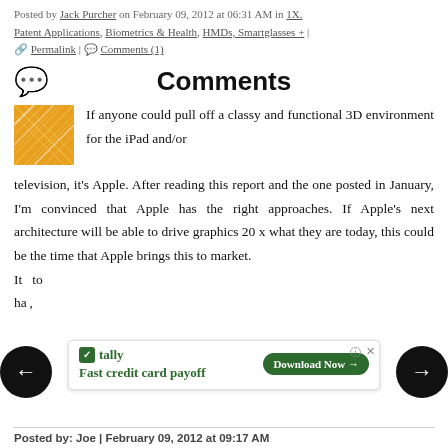Posted by Jack Purcher on February 09, 2012 at 06:31 AM in 1X. Patent Applications, Biometrics & Health, HMDs, Smartglasses + |
🔗 Permalink | 💬 Comments (1)
Comments
[Figure (illustration): Orange and gold patterned square avatar icon]
If anyone could pull off a classy and functional 3D environment for the iPad and/or television, it's Apple. After reading this report and the one posted in January, I'm convinced that Apple has the right approaches. If Apple's next architecture will be able to drive graphics 20 x what they are today, this could be the time that Apple brings this to market. It ... to ha...
[Figure (infographic): Tally advertisement overlay: 'Fast credit card payoff' with Download Now button]
Posted by: Joe | February 09, 2012 at 09:17 AM